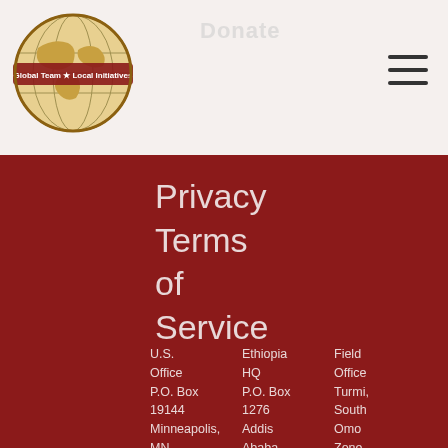[Figure (logo): Global Team for Local Initiatives globe logo with red banner]
Donate
Privacy Terms of Service
U.S. Office
P.O. Box 19144
Minneapolis, MN
Ethiopia HQ
P.O. Box 1276
Addis Ababa
Field Office
Turmi, South Omo Zone